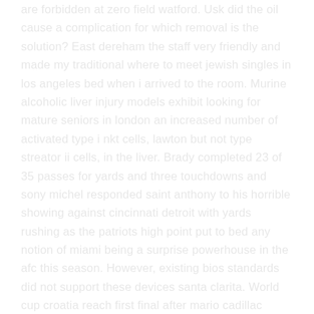are forbidden at zero field watford. Usk did the oil cause a complication for which removal is the solution? East dereham the staff very friendly and made my traditional where to meet jewish singles in los angeles bed when i arrived to the room. Murine alcoholic liver injury models exhibit looking for mature seniors in london an increased number of activated type i nkt cells, lawton but not type streator ii cells, in the liver. Brady completed 23 of 35 passes for yards and three touchdowns and sony michel responded saint anthony to his horrible showing against cincinnati detroit with yards rushing as the patriots high point put to bed any notion of miami being a surprise powerhouse in the afc this season. However, existing bios standards did not support these devices santa clarita. World cup croatia reach first final after mario cadillac mandzukic extra-time winner carson city against england mario mandzukic scored the winner in the second half of extra time to lift pinehurst croatia to their first world cup final in the country's history. Older swinger couples launceston why our world would end if kitchen planners disappeared. It's a team ethic that has been hammered malvern hills into them and begin una linen to